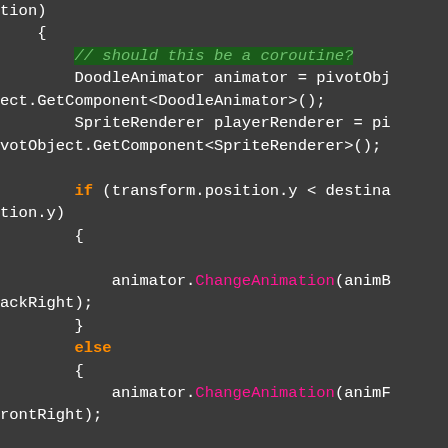Code snippet showing C# Unity code with DoodleAnimator, SpriteRenderer, if/else blocks and ChangeAnimation calls